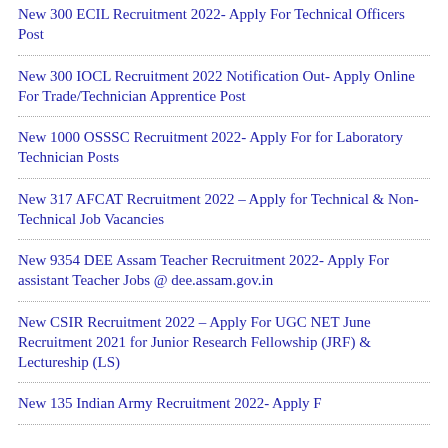New 300 ECIL Recruitment 2022- Apply For Technical Officers Post
New 300 IOCL Recruitment 2022 Notification Out- Apply Online For Trade/Technician Apprentice Post
New 1000 OSSSC Recruitment 2022- Apply For for Laboratory Technician Posts
New 317 AFCAT Recruitment 2022 – Apply for Technical & Non-Technical Job Vacancies
New 9354 DEE Assam Teacher Recruitment 2022- Apply For assistant Teacher Jobs @ dee.assam.gov.in
New CSIR Recruitment 2022 – Apply For UGC NET June Recruitment 2021 for Junior Research Fellowship (JRF) & Lectureship (LS)
New 135 Indian Army Recruitment 2022- Apply F...